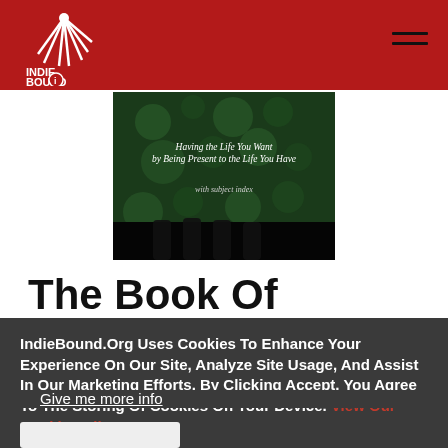IndieBound - navigation header with logo and hamburger menu
[Figure (photo): Book cover image for 'The Book of Awakening' showing green leaves with water droplets and text 'Having the Life You Want by Being Present to the Life You Have, with subject index']
The Book Of Awakening
IndieBound.Org Uses Cookies To Enhance Your Experience On Our Site, Analyze Site Usage, And Assist In Our Marketing Efforts. By Clicking Accept, You Agree To The Storing Of Cookies On Your Device. View Our Cookie Policy.
Give me more info